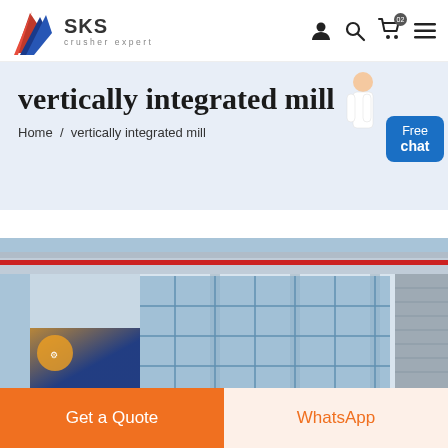SKS crusher expert
vertically integrated mill
Home / vertically integrated mill
[Figure (photo): Industrial building/factory exterior with large glass windows, metal roof structure with red pipe, and blue sky visible. A banner image is partially visible on the lower left.]
Get a Quote
WhatsApp